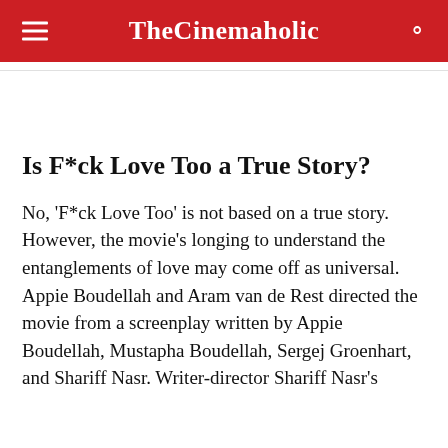TheCinemaholic
Is F*ck Love Too a True Story?
No, 'F*ck Love Too' is not based on a true story. However, the movie's longing to understand the entanglements of love may come off as universal. Appie Boudellah and Aram van de Rest directed the movie from a screenplay written by Appie Boudellah, Mustapha Boudellah, Sergej Groenhart, and Shariff Nasr. Writer-director Shariff Nasr's